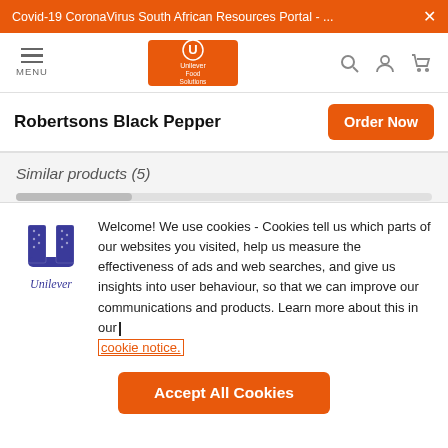Covid-19 CoronaVirus South African Resources Portal - ... ×
[Figure (logo): Unilever Food Solutions orange logo in navigation bar]
Robertsons Black Pepper
Order Now
Similar products (5)
[Figure (logo): Unilever blue U logo with Unilever wordmark below]
Welcome! We use cookies - Cookies tell us which parts of our websites you visited, help us measure the effectiveness of ads and web searches, and give us insights into user behaviour, so that we can improve our communications and products. Learn more about this in our cookie notice.
Accept All Cookies